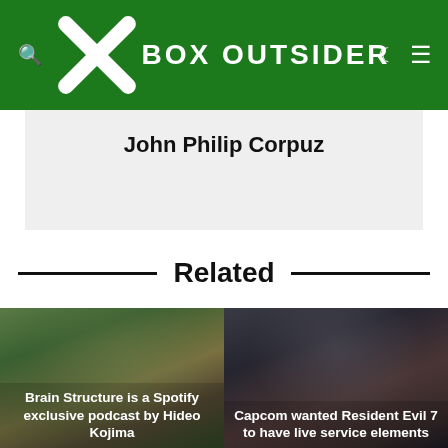XBox Outsider
John Philip Corpuz
Related
[Figure (photo): Article thumbnail showing Hideo Kojima with text overlay: Brain Structure is a Spotify exclusive podcast by Hideo Kojima]
[Figure (photo): Article thumbnail showing dark scene with text overlay: Capcom wanted Resident Evil 7 to have live service elements]